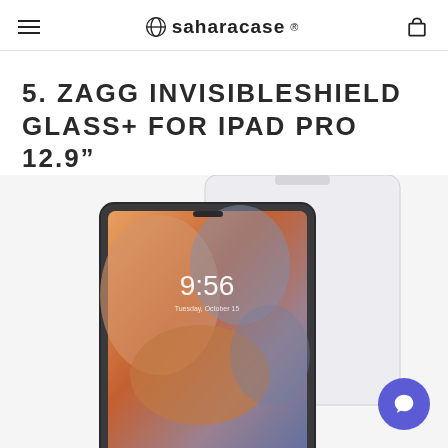SaharaCase
5. ZAGG INVISIBLESHIELD GLASS+ FOR IPAD PRO 12.9"
[Figure (photo): Product photo of ZAGG InvisibleShield Glass+ screen protector being applied to an iPad Pro 12.9 inch, showing the tablet with a colorful abstract lock screen displaying 9:56 time, with a transparent glass protector slightly offset above it.]